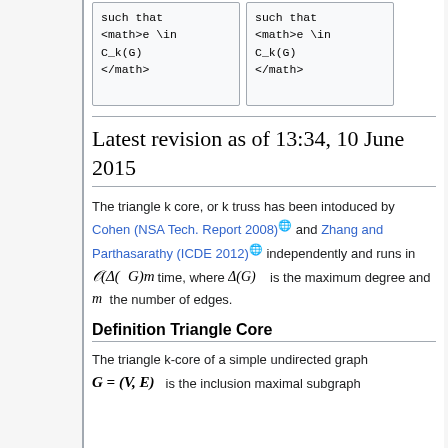| such that
<math>e \in
C_k(G)
</math> | such that
<math>e \in
C_k(G)
</math> |
Latest revision as of 13:34, 10 June 2015
The triangle k core, or k truss has been intoduced by Cohen (NSA Tech. Report 2008) and Zhang and Parthasarathy (ICDE 2012) independently and runs in 𝒪(Δ(G)m) time, where Δ(G) is the maximum degree and m the number of edges.
Definition Triangle Core
The triangle k-core of a simple undirected graph G = (V, E) is the inclusion maximal subgraph